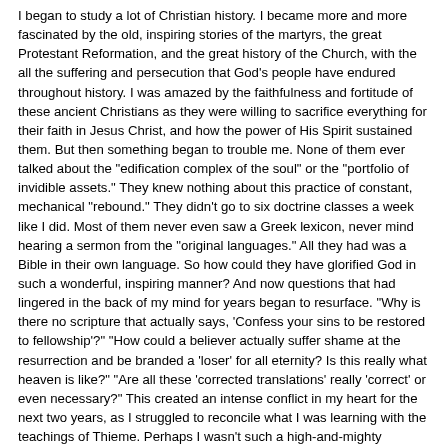I began to study a lot of Christian history. I became more and more fascinated by the old, inspiring stories of the martyrs, the great Protestant Reformation, and the great history of the Church, with the all the suffering and persecution that God's people have endured throughout history. I was amazed by the faithfulness and fortitude of these ancient Christians as they were willing to sacrifice everything for their faith in Jesus Christ, and how the power of His Spirit sustained them. But then something began to trouble me. None of them ever talked about the "edification complex of the soul" or the "portfolio of invidible assets." They knew nothing about this practice of constant, mechanical "rebound." They didn't go to six doctrine classes a week like I did. Most of them never even saw a Greek lexicon, never mind hearing a sermon from the "original languages." All they had was a Bible in their own language. So how could they have glorified God in such a wonderful, inspiring manner? And now questions that had lingered in the back of my mind for years began to resurface. "Why is there no scripture that actually says, 'Confess your sins to be restored to fellowship'?" "How could a believer actually suffer shame at the resurrection and be branded a 'loser' for all eternity? Is this really what heaven is like?" "Are all these 'corrected translations' really 'correct' or even necessary?" This created an intense conflict in my heart for the next two years, as I struggled to reconcile what I was learning with the teachings of Thieme. Perhaps I wasn't such a high-and-mighty "winner" after all.
On top of this, the Lord began to convict me of all the rampant carnality among the other members of the church. Many of those whom I considered friends were consistently indulging in partying, drunkenness, and extra-marital sex. Apparently, they were the "liberated" Christians, who had the right to live as they pleased since they were the special "winner believers." And anyone who tried to warn them about their lifestyle was a "legalist." I had known in my heart that it was wrong for me to be around such carnality, but it was hard to give up my social life, being as popular as I was in the church. But as I studied the lives of faithful Christians from ages past, the Lord laid such a conviction upon my heart that I finally had to start distancing myself from a lot